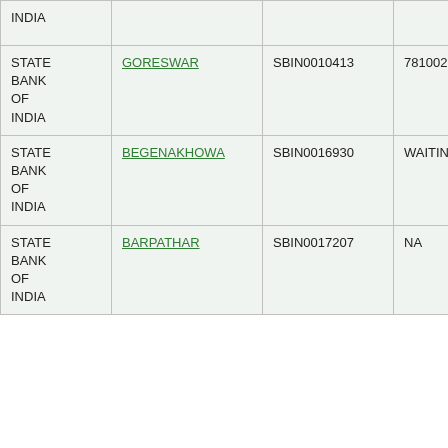| Bank Name | Branch Name | IFSC | MICR |
| --- | --- | --- | --- |
| STATE BANK OF INDIA | INDIA |  |  |  |
| STATE BANK OF INDIA | GORESWAR | SBIN0010413 | 781002509 |
| STATE BANK OF INDIA | BEGENAKHOWA | SBIN0016930 | WAITING |
| STATE BANK OF INDIA | BARPATHAR | SBIN0017207 | NA |